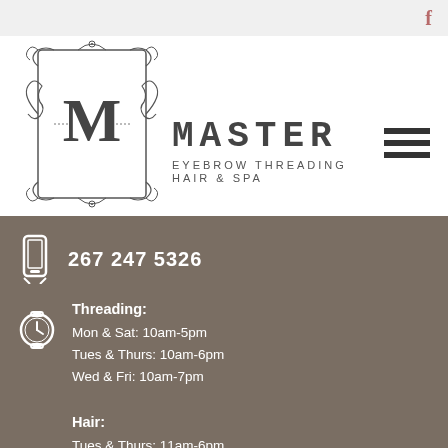[Figure (logo): Master Eyebrow Threading Hair & Spa logo with ornate M monogram]
267 247 5326
Threading:
Mon & Sat: 10am-5pm
Tues & Thurs: 10am-6pm
Wed & Fri: 10am-7pm

Hair:
Tues & Thurs: 11am-6pm
Wed & Fri: 10am-7pm
Sat: 10am-5pm